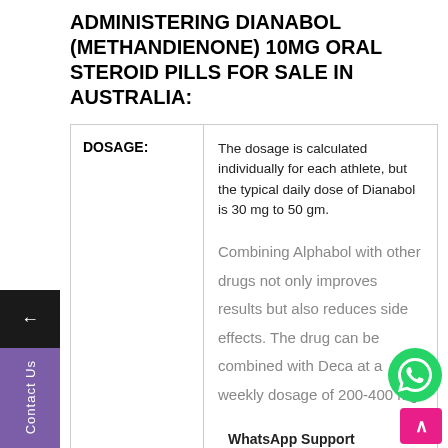ADMINISTERING DIANABOL (METHANDIENONE) 10MG ORAL STEROID PILLS FOR SALE IN AUSTRALIA:
| DOSAGE: | Content |
| --- | --- |
| DOSAGE: | The dosage is calculated individually for each athlete, but the typical daily dose of Dianabol is 30 mg to 50 gm.

Combining Alphabol with other drugs not only improves results but also reduces side effects. The drug can be combined with Deca at a weekly dosage of 200-400 mg.

It is not advisable to stack Winstrol alongside your |